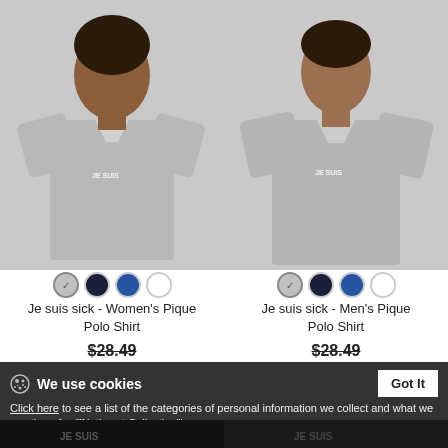[Figure (photo): Woman wearing a grey pique polo shirt with 'JE SUIS' text on chest]
[Figure (photo): Man wearing a grey pique polo shirt with 'JE SUIS' text on chest]
Je suis sick - Women's Pique Polo Shirt
$28.49
Je suis sick - Men's Pique Polo Shirt
$28.49
We use cookies
Click here to see a list of the categories of personal information we collect and what we use them for ("Notice at Collection").
Privacy Policy
Do Not Sell My Personal Information
By using this website, I agree to the Terms and Conditions
[Figure (photo): Dark polo shirt with JE SUIS text — partially visible at bottom left]
[Figure (photo): Black item with JE SUIS text — partially visible at bottom right]